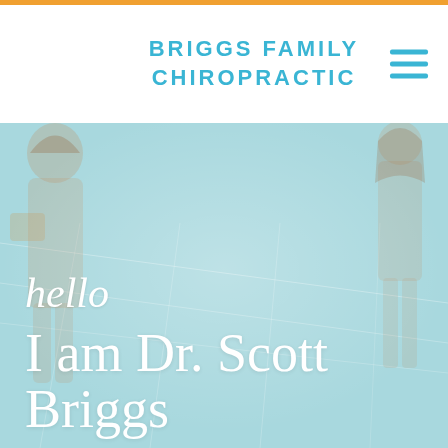BRIGGS FAMILY CHIROPRACTIC
[Figure (photo): Background hero photo of a family/people walking outdoors with a teal color overlay, partially obscured. Lower portion shows text overlay with 'hello I am Dr. Scott Briggs'.]
hello
I am Dr. Scott Briggs